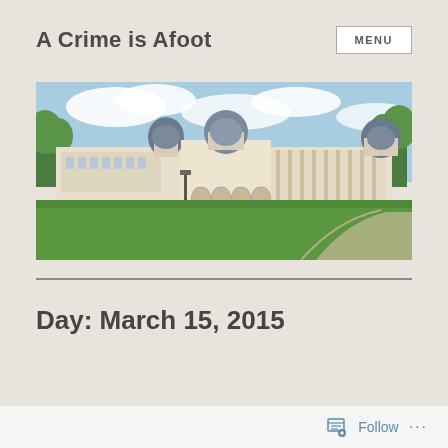A Crime is Afoot
[Figure (photo): Panoramic photo of a large classical European palace with domed towers, white stone facade, green lawn in foreground, blue sky with clouds]
Day: March 15, 2015
Follow ...